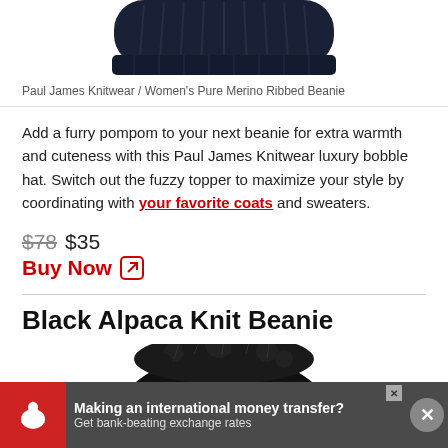[Figure (photo): Top portion of a dark navy ribbed knit beanie hat against white background]
Paul James Knitwear / Women's Pure Merino Ribbed Beanie
Add a furry pompom to your next beanie for extra warmth and cuteness with this Paul James Knitwear luxury bobble hat. Switch out the fuzzy topper to maximize your style by coordinating with your favorite coats and sweaters.
$78 $35
Buy Now
Black Alpaca Knit Beanie
[Figure (photo): Top portion of a black fluffy alpaca knit beanie hat]
Making an international money transfer? Get bank-beating exchange rates